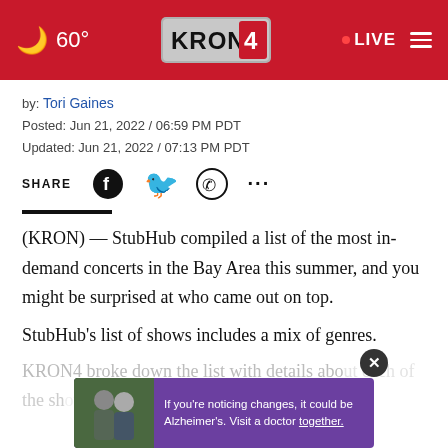🌙 60° | KRON4 | LIVE
by: Tori Gaines
Posted: Jun 21, 2022 / 06:59 PM PDT
Updated: Jun 21, 2022 / 07:13 PM PDT
SHARE
(KRON) — StubHub compiled a list of the most in-demand concerts in the Bay Area this summer, and you might be surprised at who came out on top.
StubHub's list of shows includes a mix of genres.
KRON4 broke down the list with details about each of the sh
[Figure (screenshot): Ad overlay with purple background showing two men and Alzheimer's awareness message]